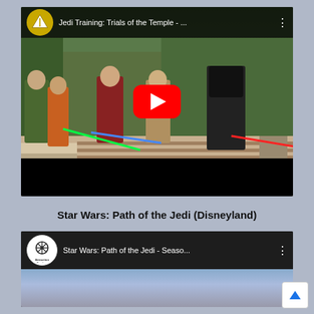[Figure (screenshot): YouTube video thumbnail for 'Jedi Training: Trials of the Temple - ...' showing children with lightsabers and a dark trooper character at Disneyland, with a red YouTube play button overlay and video top bar]
Star Wars: Path of the Jedi (Disneyland)
[Figure (screenshot): YouTube video thumbnail for 'Star Wars: Path of the Jedi - Seaso...' from AttractionFaction channel, partially visible]